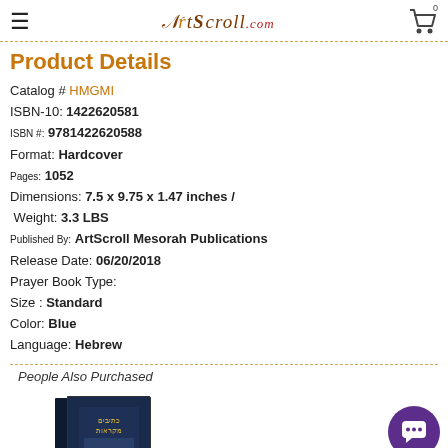ArtScroll.com — navigation header
Product Details
Catalog # HMGMI
ISBN-10: 1422620581
ISBN #: 9781422620588
Format: Hardcover
Pages: 1052
Dimensions: 7.5 x 9.75 x 1.47 inches / Weight: 3.3 LBS
Published By: ArtScroll Mesorah Publications
Release Date: 06/20/2018
Prayer Book Type:
Size : Standard
Color: Blue
Language: Hebrew
People Also Purchased
[Figure (photo): Book cover image — dark blue hardcover book with Hebrew text]
[Figure (other): Purple circular chat button with speech bubble icon]